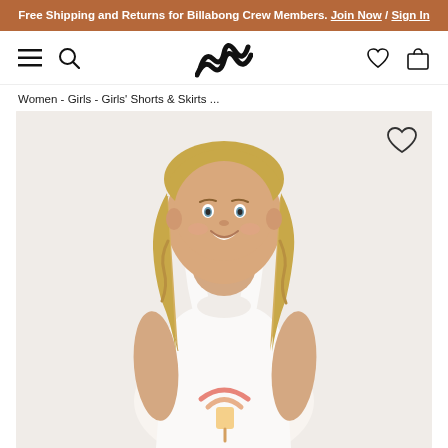Free Shipping and Returns for Billabong Crew Members. Join Now / Sign In
[Figure (screenshot): Billabong website navigation bar with hamburger menu, search icon, Billabong wave logo, heart/wishlist icon, and shopping bag icon]
Women - Girls - Girls' Shorts & Skirts ...
[Figure (photo): Young blonde girl wearing a white sleeveless tank top with a rainbow/ice cream graphic, smiling, on a light gray-beige background. Wishlist heart icon in top right of image.]